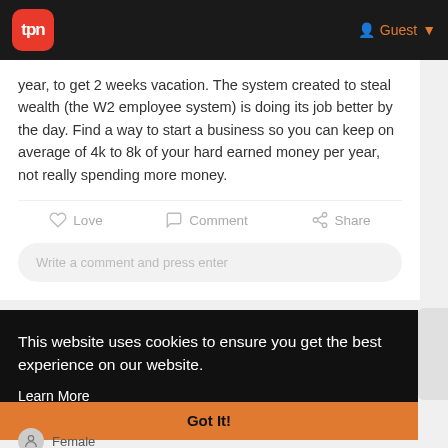tpn  Guest
year, to get 2 weeks vacation. The system created to steal wealth (the W2 employee system) is doing its job better by the day. Find a way to start a business so you can keep on average of 4k to 8k of your hard earned money per year, not really spending more money.
Love  Comment  Share
Write a comment and press enter
This website uses cookies to ensure you get the best experience on our website.
Learn More
Got It!
Female